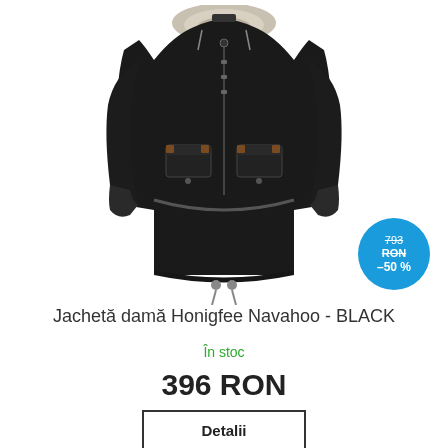[Figure (photo): Black women's winter parka jacket (Honigfee Navahoo) with fur-trimmed hood, multiple pockets, drawstring waist, shown on white background]
793 RON –50 %
Jachetă damă Honigfee Navahoo - BLACK
În stoc
396 RON
Detalii